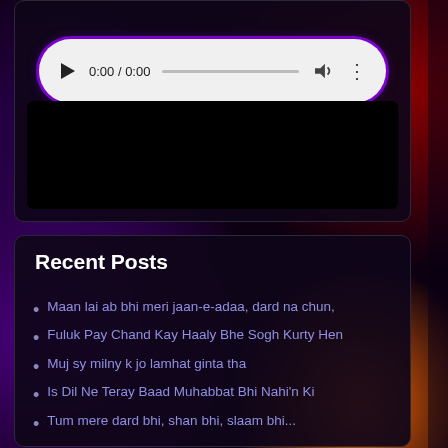Radio Player
[Figure (screenshot): Audio player control bar with play button, time display 0:00 / 0:00, progress bar, volume icon, and options dots]
Recent Posts
Maan lai ab bhi meri jaan-e-adaa, dard na chun,
Fuluk Pay Chand Kay Haaly Bhe Sogh Kurty Hen
Muj sy milny k jo lamhat ginta tha
Is Dil Ne Teray Baad Muhabbat Bhi Nahi'n Ki
Tum mere dard bhi, shan bhi, slaam bhi...